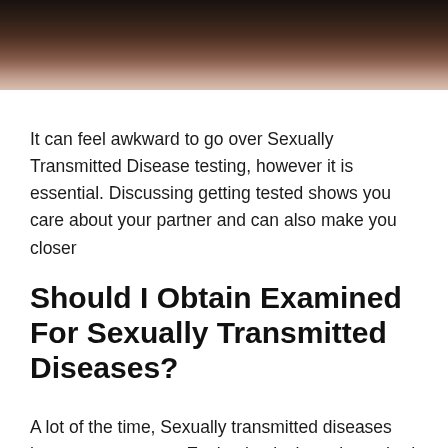[Figure (photo): Partial photo of a person with dark background, showing upper body/neck area in dark tones]
It can feel awkward to go over Sexually Transmitted Disease testing, however it is essential. Discussing getting tested shows you care about your partner and can also make you closer
Should I Obtain Examined For Sexually Transmitted Diseases?
A lot of the time, Sexually transmitted diseases have no symptoms. Evaluating is the only method to recognize without a doubt if you have